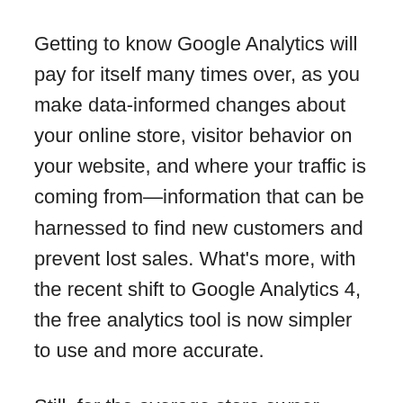Getting to know Google Analytics will pay for itself many times over, as you make data-informed changes about your online store, visitor behavior on your website, and where your traffic is coming from—information that can be harnessed to find new customers and prevent lost sales. What's more, with the recent shift to Google Analytics 4, the free analytics tool is now simpler to use and more accurate.
Still, for the average store owner, Google Analytics has a pretty steep learning curve. So to help you get started, we've pulled together a comprehensive guide covering everything you